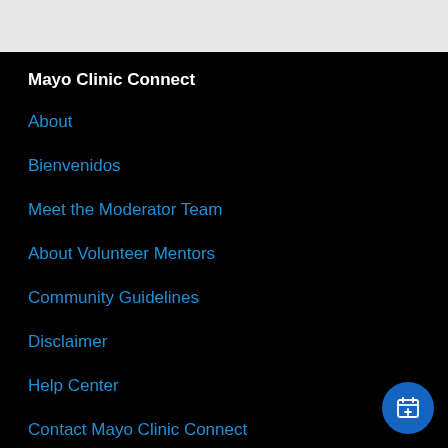Mayo Clinic Connect
About
Bienvenidos
Meet the Moderator Team
About Volunteer Mentors
Community Guidelines
Disclaimer
Help Center
Contact Mayo Clinic Connect
[Figure (other): Floating action button with calendar/add icon in blue circle at bottom right]